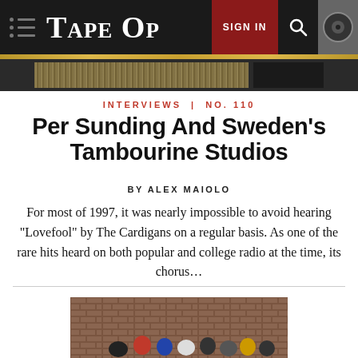TAPE OP — SIGN IN
[Figure (screenshot): Decorative banner image strip with textured and dark sections]
INTERVIEWS | NO. 110
Per Sunding And Sweden's Tambourine Studios
BY ALEX MAIOLO
For most of 1997, it was nearly impossible to avoid hearing "Lovefool" by The Cardigans on a regular basis. As one of the rare hits heard on both popular and college radio at the time, its chorus...
[Figure (photo): Group photo of people standing in front of a brick building]